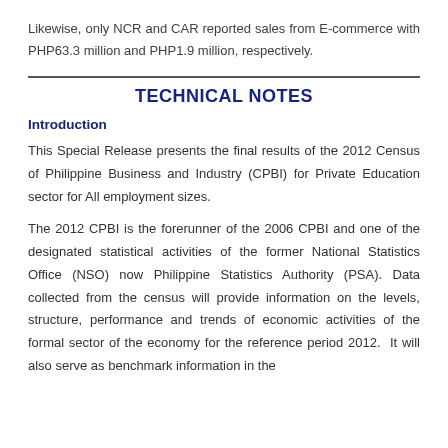Likewise, only NCR and CAR reported sales from E-commerce with PHP63.3 million and PHP1.9 million, respectively.
TECHNICAL NOTES
Introduction
This Special Release presents the final results of the 2012 Census of Philippine Business and Industry (CPBI) for Private Education sector for All employment sizes.
The 2012 CPBI is the forerunner of the 2006 CPBI and one of the designated statistical activities of the former National Statistics Office (NSO) now Philippine Statistics Authority (PSA). Data collected from the census will provide information on the levels, structure, performance and trends of economic activities of the formal sector of the economy for the reference period 2012.  It will also serve as benchmark information in the